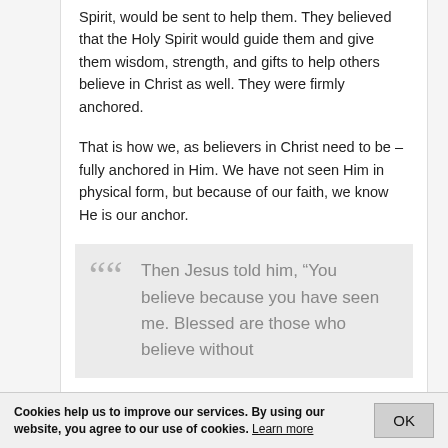Spirit, would be sent to help them. They believed that the Holy Spirit would guide them and give them wisdom, strength, and gifts to help others believe in Christ as well. They were firmly anchored.
That is how we, as believers in Christ need to be – fully anchored in Him. We have not seen Him in physical form, but because of our faith, we know He is our anchor.
““ Then Jesus told him, “You believe because you have seen me. Blessed are those who believe without
Cookies help us to improve our services. By using our website, you agree to our use of cookies. Learn more